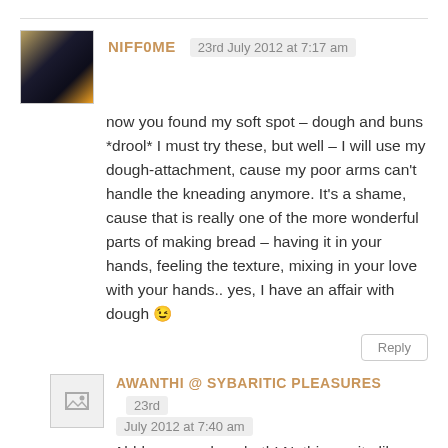NIFF0ME  23rd July 2012 at 7:17 am
now you found my soft spot – dough and buns *drool* I must try these, but well – I will use my dough-attachment, cause my poor arms can't handle the kneading anymore. It's a shame, cause that is really one of the more wonderful parts of making bread – having it in your hands, feeling the texture, mixing in your love with your hands.. yes, I have an affair with dough 😉
Reply
AWANTHI @ SYBARITIC PLEASURES  23rd July 2012 at 7:40 am
Ahhh, you and me both! Nothing quite like dough, is there? Commiserations about not being able to knead with your hands any more. 😐 It should